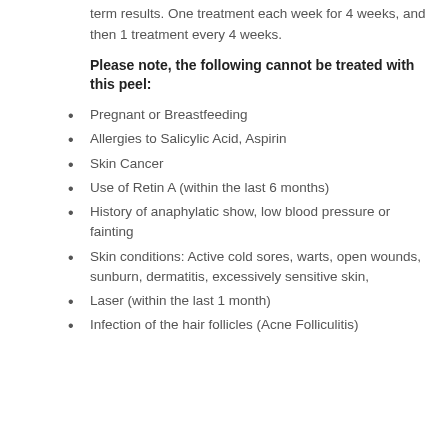term results. One treatment each week for 4 weeks, and then 1 treatment every 4 weeks.
Please note, the following cannot be treated with this peel:
Pregnant or Breastfeeding
Allergies to Salicylic Acid, Aspirin
Skin Cancer
Use of Retin A (within the last 6 months)
History of anaphylatic show, low blood pressure or fainting
Skin conditions: Active cold sores, warts, open wounds, sunburn, dermatitis, excessively sensitive skin,
Laser (within the last 1 month)
Infection of the hair follicles (Acne Folliculitis)